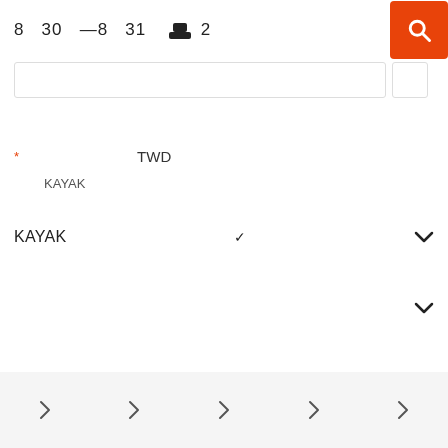8  30  —8  31   👥 2
[Figure (screenshot): Orange search button with magnifying glass icon in top right corner]
* TWD
KAYAK
KAYAK ˅
˅
100% ˅
> > > > >